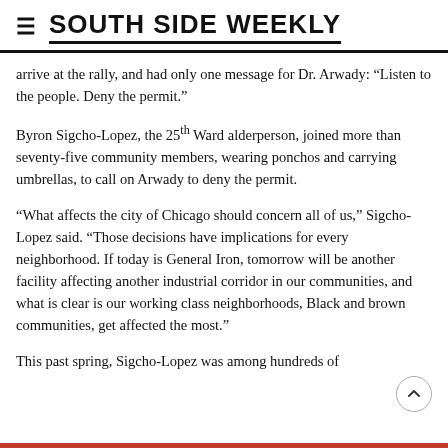SOUTH SIDE WEEKLY
arrive at the rally, and had only one message for Dr. Arwady: “Listen to the people. Deny the permit.”
Byron Sigcho-Lopez, the 25th Ward alderperson, joined more than seventy-five community members, wearing ponchos and carrying umbrellas, to call on Arwady to deny the permit.
“What affects the city of Chicago should concern all of us,” Sigcho-Lopez said. “Those decisions have implications for every neighborhood. If today is General Iron, tomorrow will be another facility affecting another industrial corridor in our communities, and what is clear is our working class neighborhoods, Black and brown communities, get affected the most.”
This past spring, Sigcho-Lopez was among hundreds of